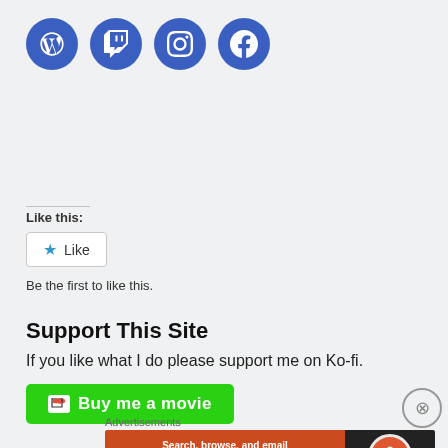[Figure (illustration): Four social media icon circles (WordPress, Twitch, Instagram, Facebook) in blue with white logos]
Like this:
[Figure (illustration): Like button with blue star icon and text 'Like' inside a rounded rectangle border]
Be the first to like this.
Support This Site
If you like what I do please support me on Ko-fi.
[Figure (illustration): Green Ko-fi button with coffee cup icon and text 'Buy me a movie']
Advertisements
[Figure (illustration): DuckDuckGo advertisement banner: orange left side with text 'Search, browse, and email with more privacy. All in One Free App' and dark right side with DuckDuckGo logo]